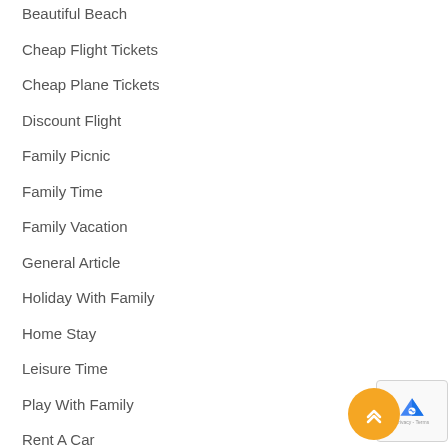Beautiful Beach
Cheap Flight Tickets
Cheap Plane Tickets
Discount Flight
Family Picnic
Family Time
Family Vacation
General Article
Holiday With Family
Home Stay
Leisure Time
Play With Family
Rent A Car